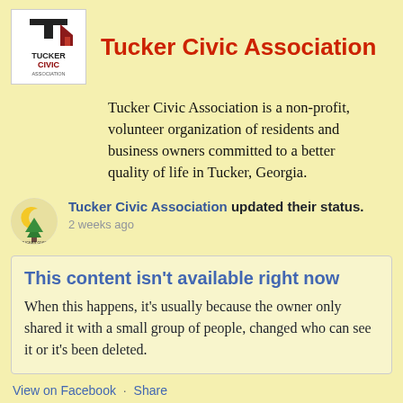[Figure (logo): Tucker Civic Association logo - black letter T with red house icon, text TUCKER CIVIC ASSOCIATION below]
Tucker Civic Association
Tucker Civic Association is a non-profit, volunteer organization of residents and business owners committed to a better quality of life in Tucker, Georgia.
[Figure (logo): Tucker Civic Association small circular profile logo with tree and moon]
Tucker Civic Association updated their status.
2 weeks ago
This content isn't available right now
When this happens, it's usually because the owner only shared it with a small group of people, changed who can see it or it's been deleted.
View on Facebook · Share